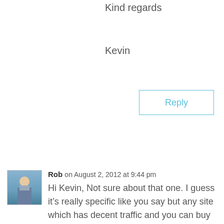Kind regards
Kevin
Reply
Rob on August 2, 2012 at 9:44 pm
Hi Kevin, Not sure about that one. I guess it’s really specific like you say but any site which has decent traffic and you can buy cheap media (i.e., banners) is worth a pop I’d say! Nothing beats testing. Cheers, Rob